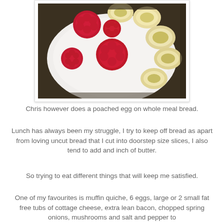[Figure (photo): A white plate with raspberries and banana slices on top, photographed from above on a colorful tablecloth background.]
Chris however does a poached egg on whole meal bread.
Lunch has always been my struggle, I try to keep off bread as apart from loving uncut bread that I cut into doorstep size slices, I also tend to add and inch of butter.
So trying to eat different things that will keep me satisfied.
One of my favourites is muffin quiche, 6 eggs, large or 2 small fat free tubs of cottage cheese, extra lean bacon, chopped spring onions, mushrooms and salt and pepper to